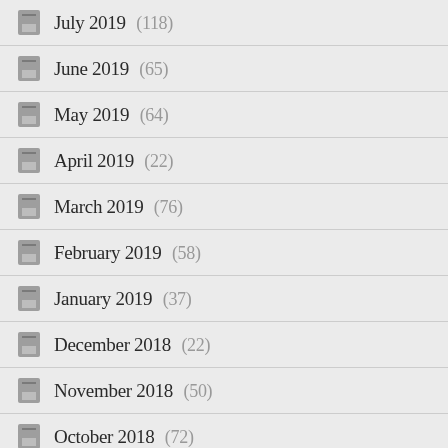July 2019 (118)
June 2019 (65)
May 2019 (64)
April 2019 (22)
March 2019 (76)
February 2019 (58)
January 2019 (37)
December 2018 (22)
November 2018 (50)
October 2018 (72)